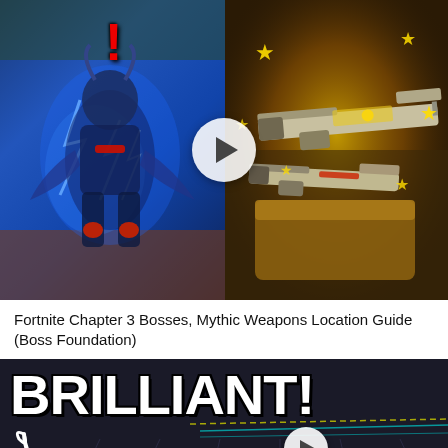[Figure (screenshot): Video thumbnail split into two halves: left side shows a Fortnite character with blue lightning effects and a red exclamation mark, right side shows golden mythic weapons glowing with stars. A white play button circle is centered between the two halves.]
Fortnite Chapter 3 Bosses, Mythic Weapons Location Guide (Boss Foundation)
[Figure (screenshot): Video thumbnail showing the word BRILLIANT! in large white bold letters with black outline on a dark sci-fi background. A white curled arrow points down-right, and a white play button circle is visible in the lower center area.]